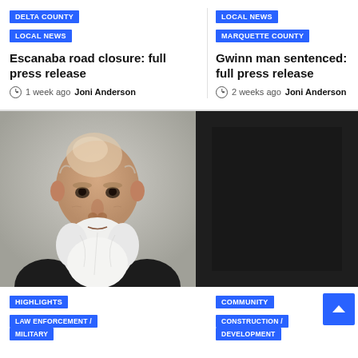DELTA COUNTY
LOCAL NEWS
Escanaba road closure: full press release
1 week ago  Joni Anderson
LOCAL NEWS
MARQUETTE COUNTY
Gwinn man sentenced: full press release
2 weeks ago  Joni Anderson
[Figure (photo): Mugshot photo of an older white man with a bald head and large white beard, wearing a dark jacket, against a gray background]
[Figure (photo): Dark/black image, content obscured]
HIGHLIGHTS
COMMUNITY
LAW ENFORCEMENT / MILITARY
CONSTRUCTION / DEVELOPMENT